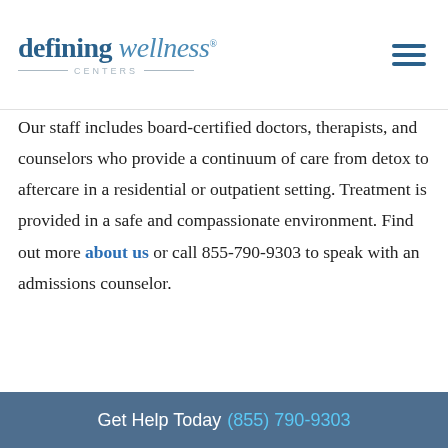defining wellness® CENTERS
Our staff includes board-certified doctors, therapists, and counselors who provide a continuum of care from detox to aftercare in a residential or outpatient setting. Treatment is provided in a safe and compassionate environment. Find out more about us or call 855-790-9303 to speak with an admissions counselor.
[Figure (logo): Humana logo in olive/green bold text]
[Figure (logo): United Health Group logo with blue bar chart icon and blue 'United' text]
Get Help Today (855) 790-9303